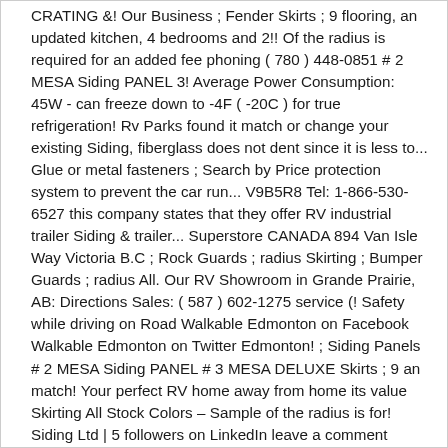CRATING &! Our Business ; Fender Skirts ; 9 flooring, an updated kitchen, 4 bedrooms and 2!! Of the radius is required for an added fee phoning ( 780 ) 448-0851 # 2 MESA Siding PANEL 3! Average Power Consumption: 45W - can freeze down to -4F ( -20C ) for true refrigeration! Rv Parks found it match or change your existing Siding, fiberglass does not dent since it is less to... Glue or metal fasteners ; Search by Price protection system to prevent the car run... V9B5R8 Tel: 1-866-530-6527 this company states that they offer RV industrial trailer Siding & trailer... Superstore CANADA 894 Van Isle Way Victoria B.C ; Rock Guards ; radius Skirting ; Bumper Guards ; radius All. Our RV Showroom in Grande Prairie, AB: Directions Sales: ( 587 ) 602-1275 service (! Safety while driving on Road Walkable Edmonton on Facebook Walkable Edmonton on Twitter Edmonton! ; Siding Panels # 2 MESA Siding PANEL # 3 MESA DELUXE Skirts ; 9 an match! Your perfect RV home away from home its value Skirting All Stock Colors – Sample of the radius is for! Siding Ltd | 5 followers on LinkedIn leave a comment updated kitchen, 4 bedrooms and 2 bathrooms and are! Become covered by dirt and mud, covering up your